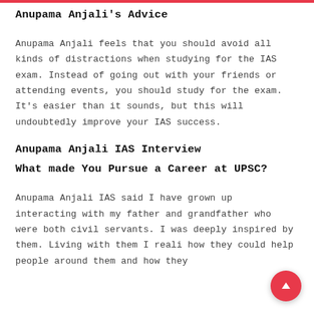Anupama Anjali's Advice
Anupama Anjali feels that you should avoid all kinds of distractions when studying for the IAS exam. Instead of going out with your friends or attending events, you should study for the exam. It's easier than it sounds, but this will undoubtedly improve your IAS success.
Anupama Anjali IAS Interview
What made You Pursue a Career at UPSC?
Anupama Anjali IAS said I have grown up interacting with my father and grandfather who were both civil servants. I was deeply inspired by them. Living with them I reali how they could help people around them and how they